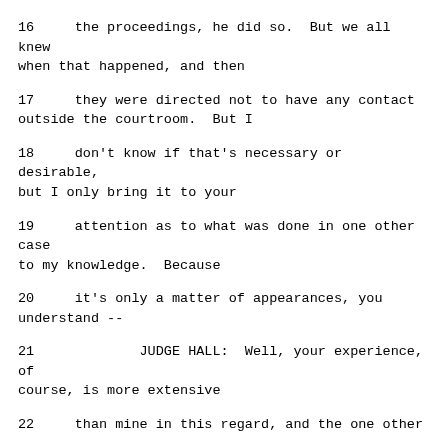16     the proceedings, he did so.  But we all knew when that happened, and then
17     they were directed not to have any contact outside the courtroom.  But I
18     don't know if that's necessary or desirable, but I only bring it to your
19     attention as to what was done in one other case to my knowledge.  Because
20     it's only a matter of appearances, you understand --
21             JUDGE HALL:  Well, your experience, of course, is more extensive
22     than mine in this regard, and the one other